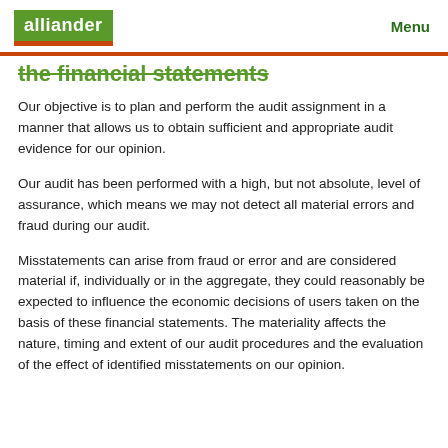alliander | Menu
the financial statements
Our objective is to plan and perform the audit assignment in a manner that allows us to obtain sufficient and appropriate audit evidence for our opinion.
Our audit has been performed with a high, but not absolute, level of assurance, which means we may not detect all material errors and fraud during our audit.
Misstatements can arise from fraud or error and are considered material if, individually or in the aggregate, they could reasonably be expected to influence the economic decisions of users taken on the basis of these financial statements. The materiality affects the nature, timing and extent of our audit procedures and the evaluation of the effect of identified misstatements on our opinion.